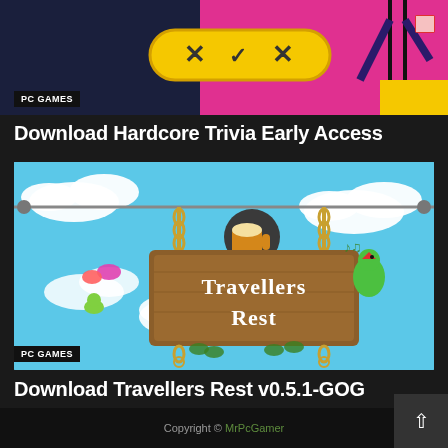[Figure (screenshot): Top banner image for a PC game (Hardcore Trivia Early Access) showing colorful game art with X and checkmark symbols on pink and dark background with a character silhouette]
PC GAMES
Download Hardcore Trivia Early Access
[Figure (screenshot): Game banner image for Travellers Rest showing pixel art of a wooden tavern sign hanging from chains against a blue sky with clouds and a green parrot]
PC GAMES
Download Travellers Rest v0.5.1-GOG
Copyright © MrPcGamer